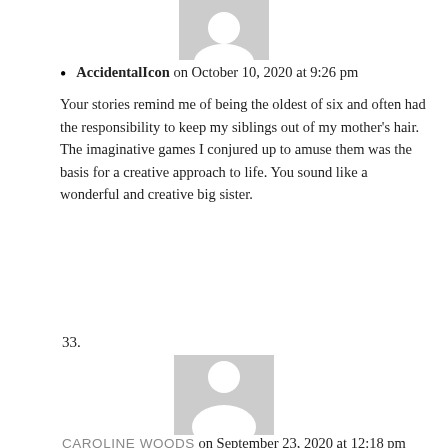[Figure (illustration): Gray placeholder avatar icon (person silhouette) at top of page, partially cropped]
AccidentalIcon on October 10, 2020 at 9:26 pm
Your stories remind me of being the oldest of six and often had the responsibility to keep my siblings out of my mother's hair. The imaginative games I conjured up to amuse them was the basis for a creative approach to life. You sound like a wonderful and creative big sister.
33.
[Figure (illustration): Gray placeholder avatar icon (person silhouette) for comment 33]
CAROLINE WOODS on September 23, 2020 at 12:18 pm